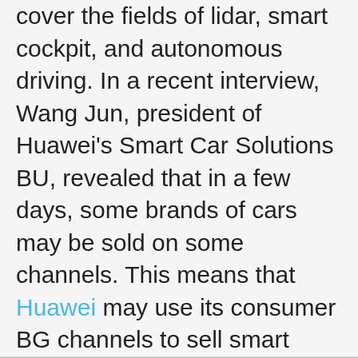cover the fields of lidar, smart cockpit, and autonomous driving. In a recent interview, Wang Jun, president of Huawei's Smart Car Solutions BU, revealed that in a few days, some brands of cars may be sold on some channels. This means that Huawei may use its consumer BG channels to sell smart cars. He said that “this is in the process of consideration and you will get official information in two days”.